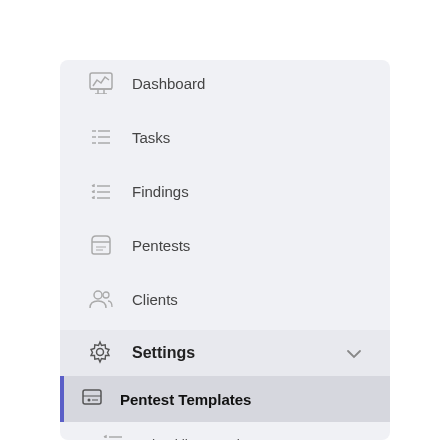Dashboard
Tasks
Findings
Pentests
Clients
Settings
Pentest Templates
Checklist Templates
Compliance Norms